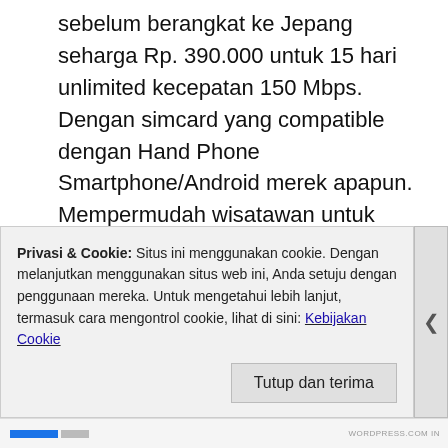sebelum berangkat ke Jepang seharga Rp. 390.000 untuk 15 hari unlimited kecepatan 150 Mbps. Dengan simcard yang compatible dengan Hand Phone Smartphone/Android merek apapun. Mempermudah wisatawan untuk selalu online 24 jam menggunakan internet dimana saja kapan saja.
Informasi Produk silahkan klik link berikuti ni:
http://www.kaskus.co.id/post/54d88256529a45ec5d8b456b#p
Saya sangat mengharapkan tanggapan sharon atas e-mail
Privasi & Cookie: Situs ini menggunakan cookie. Dengan melanjutkan menggunakan situs web ini, Anda setuju dengan penggunaan mereka. Untuk mengetahui lebih lanjut, termasuk cara mengontrol cookie, lihat di sini: Kebijakan Cookie
Tutup dan terima